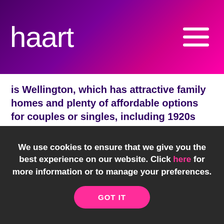haart
is Wellington, which has attractive family homes and plenty of affordable options for couples or singles, including 1920s buildings split into fetching apartments.
Market Drayton
Close to Cheshire and Staffordshire, this eclectic town has narrow streets and alleyways, home to
We use cookies to ensure that we give you the best experience on our website. Click here for more information or to manage your preferences.
GOT IT